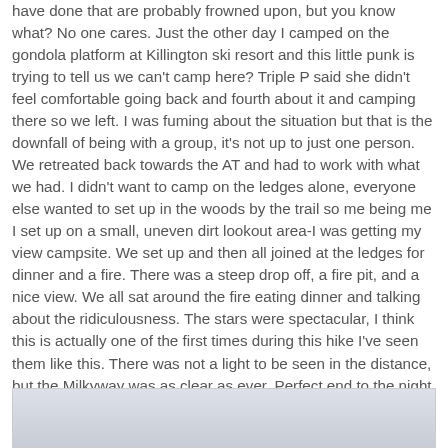have done that are probably frowned upon, but you know what? No one cares. Just the other day I camped on the gondola platform at Killington ski resort and this little punk is trying to tell us we can't camp here? Triple P said she didn't feel comfortable going back and fourth about it and camping there so we left. I was fuming about the situation but that is the downfall of being with a group, it's not up to just one person. We retreated back towards the AT and had to work with what we had. I didn't want to camp on the ledges alone, everyone else wanted to set up in the woods by the trail so me being me I set up on a small, uneven dirt lookout area-I was getting my view campsite. We set up and then all joined at the ledges for dinner and a fire. There was a steep drop off, a fire pit, and a nice view. We all sat around the fire eating dinner and talking about the ridiculousness. The stars were spectacular, I think this is actually one of the first times during this hike I've seen them like this. There was not a light to be seen in the distance, but the Milkyway was as clear as ever. Perfect end to the night.
[Figure (photo): Partially visible photo at bottom of page, showing a light grayish-blue sky or landscape, mostly cropped off.]